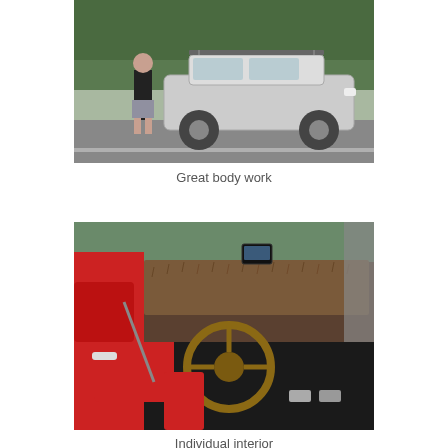[Figure (photo): A man in a black t-shirt and plaid shorts standing beside a silver sedan car with a roof rack, parked on a road with green trees in the background.]
Great body work
[Figure (photo): Interior of a car with red seats and door panels, a furry/shaggy dashboard cover, a wooden steering wheel, a GPS device mounted on the dash, and dark floor mats with metal pedals.]
Individual interior